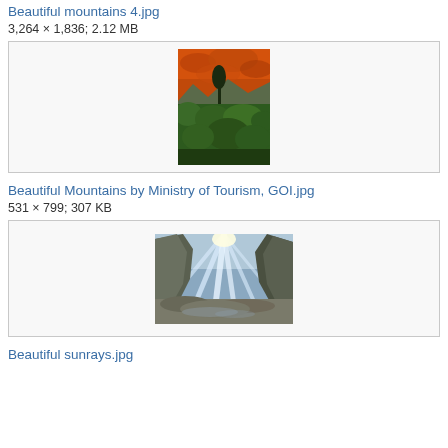Beautiful mountains 4.jpg
3,264 × 1,836; 2.12 MB
[Figure (photo): Mountain landscape with orange/dramatic sky and green vegetation in foreground]
Beautiful Mountains by Ministry of Tourism, GOI.jpg
531 × 799; 307 KB
[Figure (photo): Rocky mountain gorge with sunrays shining through, rocky terrain and cliffs]
Beautiful sunrays.jpg